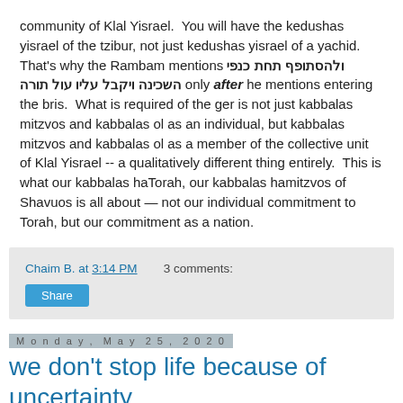community of Klal Yisrael. You will have the kedushas yisrael of the tzibur, not just kedushas yisrael of a yachid. That's why the Rambam mentions ולהסתופף תחת כנפי השכינה ויקבל עליו עול תורה only after he mentions entering the bris. What is required of the ger is not just kabbalas mitzvos and kabbalas ol as an individual, but kabbalas mitzvos and kabbalas ol as a member of the collective unit of Klal Yisrael -- a qualitatively different thing entirely. This is what our kabbalas haTorah, our kabbalas hamitzvos of Shavuos is all about — not our individual commitment to Torah, but our commitment as a nation.
Chaim B. at 3:14 PM   3 comments:
Share
Monday, May 25, 2020
we don't stop life because of uncertainty